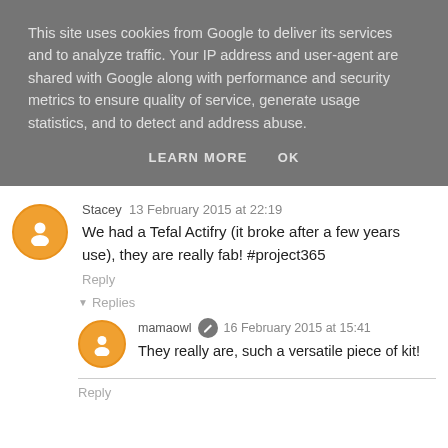This site uses cookies from Google to deliver its services and to analyze traffic. Your IP address and user-agent are shared with Google along with performance and security metrics to ensure quality of service, generate usage statistics, and to detect and address abuse.
LEARN MORE   OK
Stacey  13 February 2015 at 22:19
We had a Tefal Actifry (it broke after a few years use), they are really fab! #project365
Reply
▾  Replies
mamaowl  16 February 2015 at 15:41
They really are, such a versatile piece of kit!
Reply